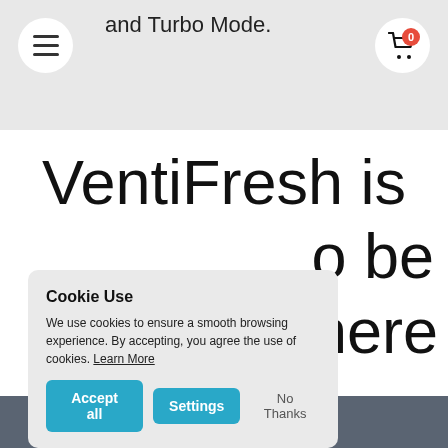and Turbo Mode.
VentiFresh is
...to be
...here
Cookie Use
We use cookies to ensure a smooth browsing experience. By accepting, you agree the use of cookies. Learn More
Accept all | Settings | No Thanks
SHOP